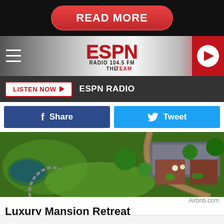[Figure (screenshot): READ MORE button on black background - red rounded rectangle button with white bold text]
[Figure (logo): ESPN Radio 104.5 FM The Team header with hamburger menu, ESPN logo, and red play button]
LISTEN NOW  ESP N RADIO
[Figure (screenshot): Facebook Share button (dark blue) and Twitter Tweet button (light blue)]
[Figure (photo): Aerial view of Luxury Mansion Retreat with green lawns, winding driveway, pond, and brick buildings]
Airbnb.com
Luxury Mansion Retreat
This m  ake George x  t will
[Figure (screenshot): Lidl advertisement overlay: Lidl: More Food for Less Money - Lidl]